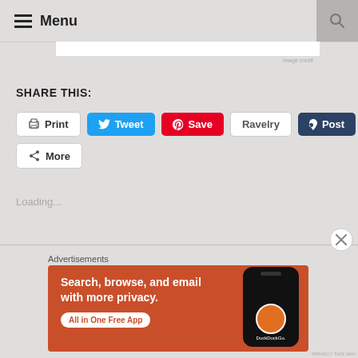Menu
SHARE THIS:
Print  Tweet  Save  Ravelry  Post
More
Loading...
Advertisements
[Figure (screenshot): DuckDuckGo advertisement: orange background with white bold text reading 'Search, browse, and email with more privacy. All in One Free App', with a smartphone graphic showing the DuckDuckGo logo and branding.]